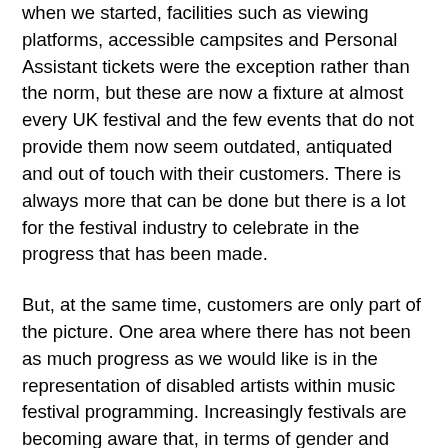when we started, facilities such as viewing platforms, accessible campsites and Personal Assistant tickets were the exception rather than the norm, but these are now a fixture at almost every UK festival and the few events that do not provide them now seem outdated, antiquated and out of touch with their customers. There is always more that can be done but there is a lot for the festival industry to celebrate in the progress that has been made.
But, at the same time, customers are only part of the picture. One area where there has not been as much progress as we would like is in the representation of disabled artists within music festival programming. Increasingly festivals are becoming aware that, in terms of gender and ethnicity, their line-ups are not as diverse as the general population. Partly inspired by adverse publicity at other events, high-profile festivals such as Glastonbury and Primavera Sound have begun to consciously make efforts to redress this in the way they programme their